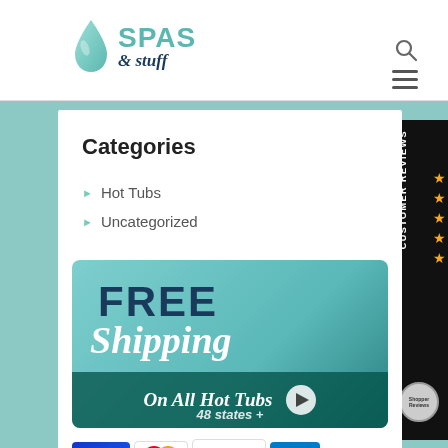[Figure (logo): Spas & Stuff logo with teal water drop icon and text]
Categories
Hot Tubs
Uncategorized
[Figure (infographic): FREE Shipping On All Hot Tubs 48 states + banner with play button]
[Figure (infographic): Payment card icons: Visa, Mastercard, Discover, Amex]